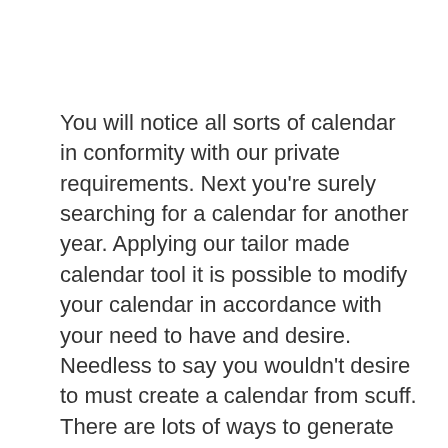You will notice all sorts of calendar in conformity with our private requirements. Next you're surely searching for a calendar for another year. Applying our tailor made calendar tool it is possible to modify your calendar in accordance with your need to have and desire. Needless to say you wouldn't desire to must create a calendar from scuff. There are lots of ways to generate an attractive calendar for the boyfriend, and utilizing the web to try and do this means you never need to take into account the neighborhood copy go shopping seeing your photographs. In the